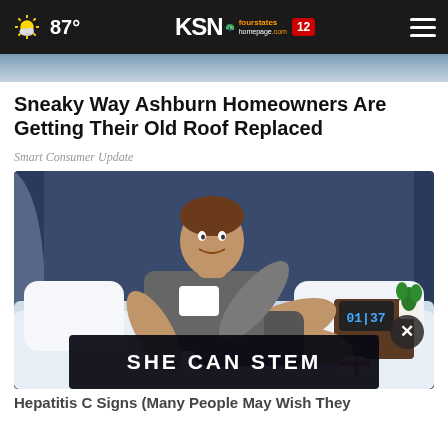87° | KSN fourstates homepage.com 12
[Figure (illustration): Partial view of a house roof, used as image strip at top]
Sneaky Way Ashburn Homeowners Are Getting Their Old Roof Replaced
Smart Consumer Update
[Figure (illustration): Cartoon illustration of a young man in a grey t-shirt sitting on a bed at night, with a clock showing 01:37, nightstand with plant and mug, dark window in background. An ad overlay reads 'SHE CAN STEM' in bold white text on a dark banner.]
Hepatitis C Signs (Many People May Wish They